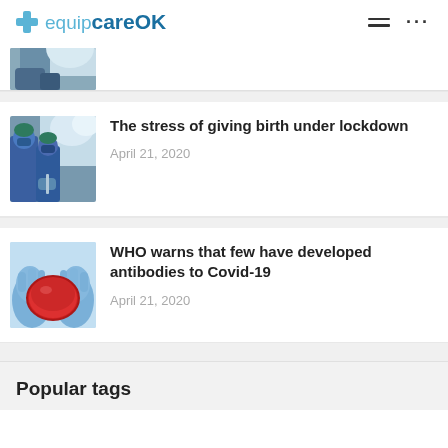# equipcareOK
[Figure (photo): Partial view of a medical professional in surgical scrubs and gloves, partially cropped at top of feed]
The stress of giving birth under lockdown
April 21, 2020
[Figure (photo): Medical professional in blue surgical scrubs and mask performing a procedure under surgical lights]
WHO warns that few have developed antibodies to Covid-19
April 21, 2020
[Figure (photo): Gloved hands holding a red petri dish or specimen against a light blue background]
Popular tags